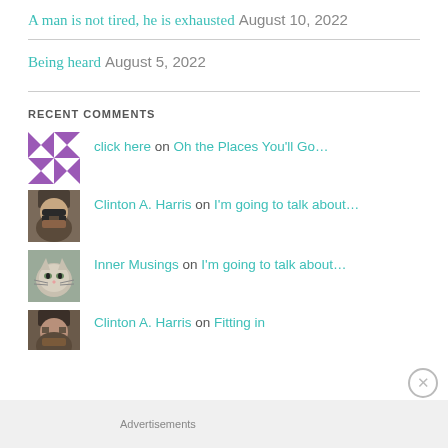A man is not tired, he is exhausted August 10, 2022
Being heard August 5, 2022
RECENT COMMENTS
click here on Oh the Places You'll Go…
Clinton A. Harris on I'm going to talk about…
Inner Musings on I'm going to talk about…
Clinton A. Harris on Fitting in
Advertisements